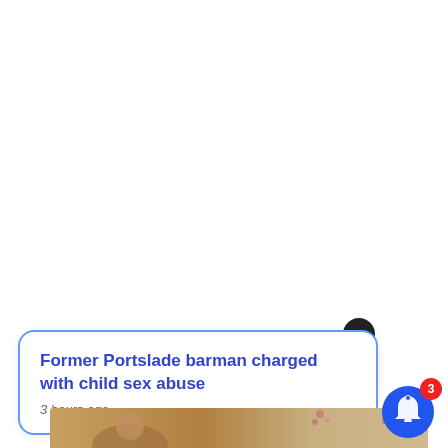[Figure (screenshot): White background area occupying the upper two-thirds of the page, representing a blank browser or app screen.]
X
Former Portslade barman charged with child sex abuse
3 hours ago
[Figure (photo): A partial photo strip at the bottom showing a person's head, with floral pattern wallpaper visible in the background.]